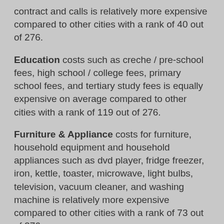contract and calls is relatively more expensive compared to other cities with a rank of 40 out of 276.
Education costs such as creche / pre-school fees, high school / college fees, primary school fees, and tertiary study fees is equally expensive on average compared to other cities with a rank of 119 out of 276.
Furniture & Appliance costs for furniture, household equipment and household appliances such as dvd player, fridge freezer, iron, kettle, toaster, microwave, light bulbs, television, vacuum cleaner, and washing machine is relatively more expensive compared to other cities with a rank of 73 out of 276.
Grocery costs for food, non-alcoholic beverages and cleaning material items such as baby consumables, baked goods, baking, canned foods, cheese, cleaning products, dairy, fresh fruits, fresh vegetables, fruit juices, meat, oil & vinegars, pet food, pre-prepared meals, sauces, seafood, snacks, soft drinks, spices & herbs is relatively less expensive compared to other cities with a rank of 203 out of